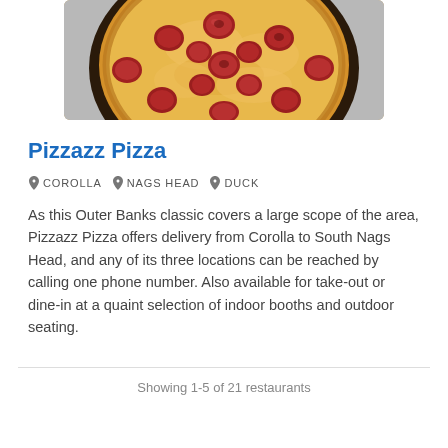[Figure (photo): Photo of a pepperoni pizza in a dark pan, viewed from above, showing melted cheese and pepperoni toppings.]
Pizzazz Pizza
COROLLA   NAGS HEAD   DUCK
As this Outer Banks classic covers a large scope of the area, Pizzazz Pizza offers delivery from Corolla to South Nags Head, and any of its three locations can be reached by calling one phone number. Also available for take-out or dine-in at a quaint selection of indoor booths and outdoor seating.
Showing 1-5 of 21 restaurants